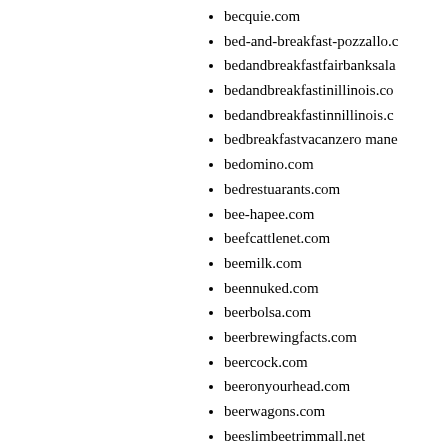becquie.com
bed-and-breakfast-pozzallo.c…
bedandbreakfastfairbanksala…
bedandbreakfastinillinois.co…
bedandbreakfastinnillinois.c…
bedbreakfastvacanzero mane…
bedomino.com
bedrestuarants.com
bee-hapee.com
beefcattlenet.com
beemilk.com
beennuked.com
beerbolsa.com
beerbrewingfacts.com
beercock.com
beeronyourhead.com
beerwagons.com
beeslimbeetrimmall.net
befallory.com
beforeandafterbraiding.com
begarts.com
beginwithjen.com
begoodbaby.com
behavioralhealthcareservices…
behindnotice.com
bei-zong.com
beibugulfshipping.com
beijing-olympic-game.com